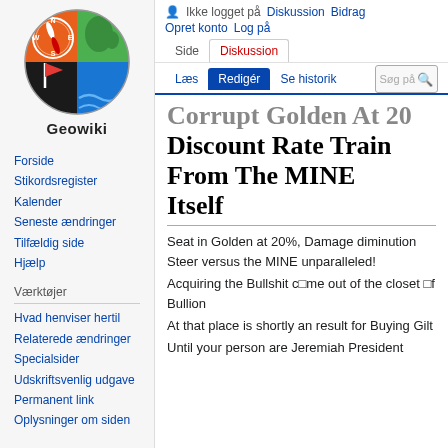[Figure (logo): Geowiki logo: circular emblem with compass/orienteering motif, green Denmark map, orange, blue, black quadrants, flag icon, with 'Geowiki' text below]
Forside
Stikordsregister
Kalender
Seneste ændringer
Tilfældig side
Hjælp
Værktøjer
Hvad henviser hertil
Relaterede ændringer
Specialsider
Udskriftsvenlig udgave
Permanent link
Oplysninger om siden
Ikke logget på  Diskussion  Bidrag  Opret konto  Log på
Corrupt Golden At 20 Discount Rate Train From The MINE Itself
Seat in Golden at 20%, Damage diminution Steer versus the MINE unparalleled!
Acquiring the Bullshit c□me out of the closet □f Bullion
At that place is shortly an result for Buying Gilt
Until your person are Jeremiah President